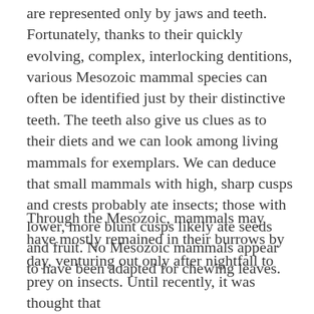are represented only by jaws and teeth. Fortunately, thanks to their quickly evolving, complex, interlocking dentitions, various Mesozoic mammal species can often be identified just by their distinctive teeth. The teeth also give us clues as to their diets and we can look among living mammals for exemplars. We can deduce that small mammals with high, sharp cusps and crests probably ate insects; those with lower, more blunt cusps likely ate seeds and fruit. No Mesozoic mammals appear to have been adapted for chewing leaves.
Through the Mesozoic, mammals may have mostly remained in their burrows by day, venturing out only after nightfall to prey on insects. Until recently, it was thought that